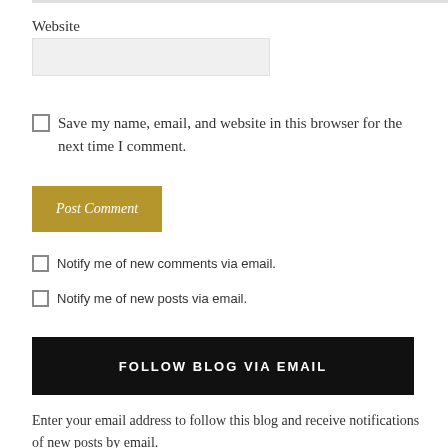Website
Save my name, email, and website in this browser for the next time I comment.
Post Comment
Notify me of new comments via email.
Notify me of new posts via email.
FOLLOW BLOG VIA EMAIL
Enter your email address to follow this blog and receive notifications of new posts by email.